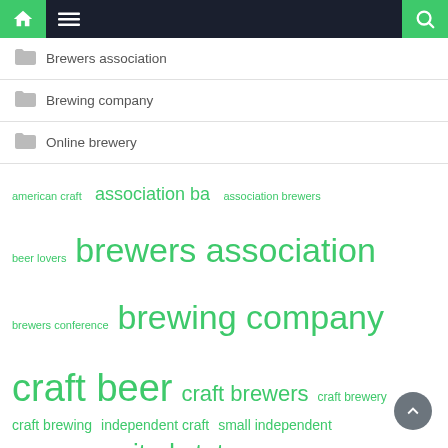[Figure (screenshot): Website navigation bar with home icon (green background), hamburger menu icon (dark background), and search icon (green background, right side)]
Brewers association
Brewing company
Online brewery
american craft  association ba  association brewers  beer lovers  brewers association  brewers conference  brewing company  craft beer  craft brewers  craft brewery  craft brewing  independent craft  small independent  trade association  united states